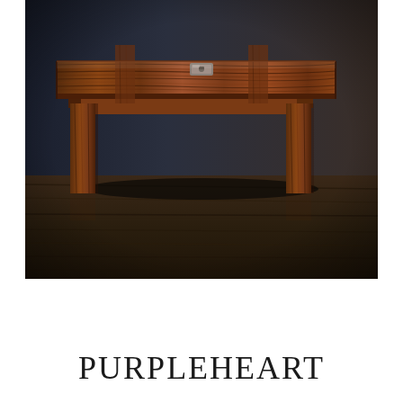[Figure (photo): A wooden side table or desk with rich dark rosewood grain, photographed from a low angle showing the tabletop with a small metal clasp/lock and four legs, set against a dark charcoal background on a dark wood floor.]
Purpleheart